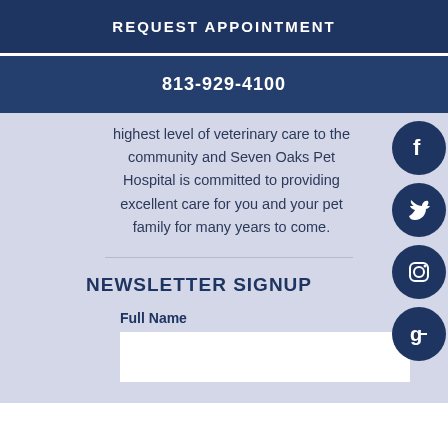REQUEST APPOINTMENT
813-929-4100
highest level of veterinary care to the community and Seven Oaks Pet Hospital is committed to providing excellent care for you and your pet family for many years to come.
NEWSLETTER SIGNUP
Full Name